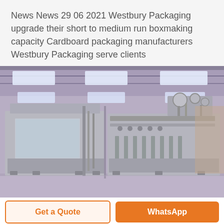News News 29 06 2021 Westbury Packaging upgrade their short to medium run boxmaking capacity Cardboard packaging manufacturers Westbury Packaging serve clients
[Figure (photo): Interior of a large industrial warehouse/factory showing two large stainless steel packaging/filling machines on a factory floor with a high ceiling and skylights. The machines appear to be bottling or filling equipment with complex piping and mechanical components.]
Get a Quote
WhatsApp